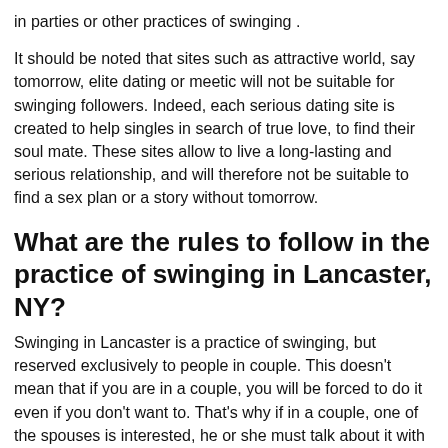in parties or other practices of swinging .
It should be noted that sites such as attractive world, say tomorrow, elite dating or meetic will not be suitable for swinging followers. Indeed, each serious dating site is created to help singles in search of true love, to find their soul mate. These sites allow to live a long-lasting and serious relationship, and will therefore not be suitable to find a sex plan or a story without tomorrow.
What are the rules to follow in the practice of swinging in Lancaster, NY?
Swinging in Lancaster is a practice of swinging, but reserved exclusively to people in couple. This doesn't mean that if you are in a couple, you will be forced to do it even if you don't want to. That's why if in a couple, one of the spouses is interested, he or she must talk about it with the other before making a decision. You must take the time to discuss the subject at length, to make sure that there is no unspoken or frustrated feelings. Otherwise, this experience may destroy your relationship, whereas normally